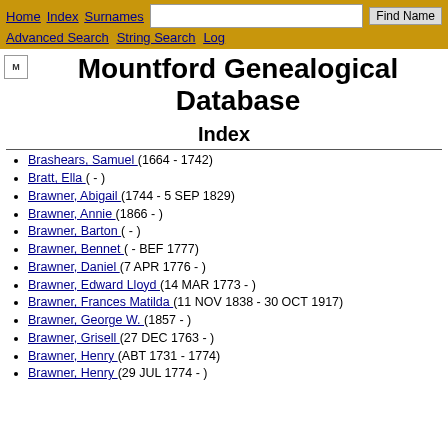Home  Index  Surnames  [search box]  Find Name  Advanced Search  String Search  Log
Mountford Genealogical Database
Index
Brashears, Samuel (1664 - 1742)
Bratt, Ella ( - )
Brawner, Abigail (1744 - 5 SEP 1829)
Brawner, Annie (1866 - )
Brawner, Barton ( - )
Brawner, Bennet ( - BEF 1777)
Brawner, Daniel (7 APR 1776 - )
Brawner, Edward Lloyd (14 MAR 1773 - )
Brawner, Frances Matilda (11 NOV 1838 - 30 OCT 1917)
Brawner, George W. (1857 - )
Brawner, Grisell (27 DEC 1763 - )
Brawner, Henry (ABT 1731 - 1774)
Brawner, Henry (29 JUL 1774 - )